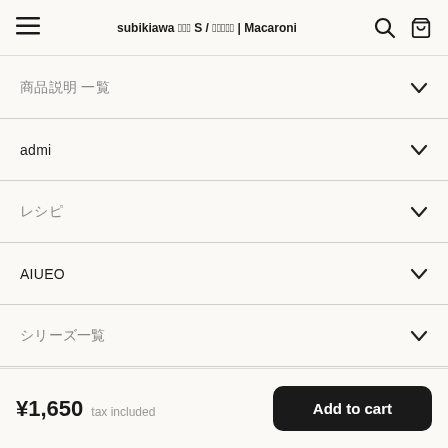subikiawa ���� S / ������ | Macaroni
������ ��
admi
����
AIUEO
��������
��������
����
¥1,650 tax included
Add to cart